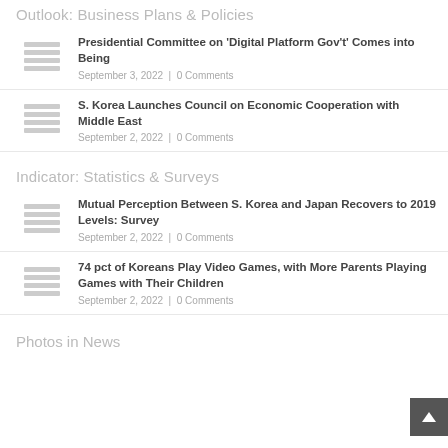Outlook: Business Plans & Policies
Presidential Committee on 'Digital Platform Gov't' Comes into Being
September 3, 2022 | 0 Comments
S. Korea Launches Council on Economic Cooperation with Middle East
September 2, 2022 | 0 Comments
Indicator: Statistics & Surveys
Mutual Perception Between S. Korea and Japan Recovers to 2019 Levels: Survey
September 2, 2022 | 0 Comments
74 pct of Koreans Play Video Games, with More Parents Playing Games with Their Children
September 2, 2022 | 0 Comments
Photos in News